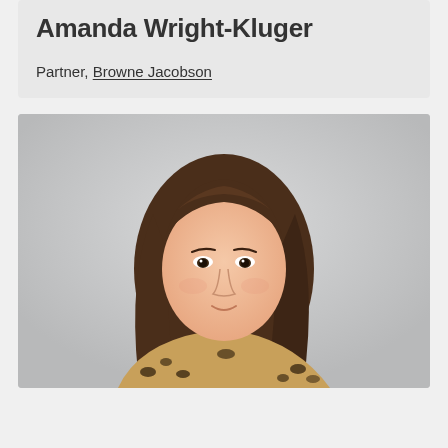Amanda Wright-Kluger
Partner, Browne Jacobson
[Figure (photo): Professional headshot of Amanda Wright-Kluger, a woman with long brown hair, wearing a leopard print top, photographed against a light grey background.]